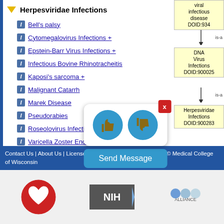Herpesviridae Infections 220
Bell's palsy 1
Cytomegalovirus Infections + 32
Epstein-Barr Virus Infections + 44
Infectious Bovine Rhinotracheitis 0
Kaposi's sarcoma + 6
Malignant Catarrh 0
Marek Disease 0
Pseudorabies 0
Roseolovirus Infections + 0
Varicella Zoster Encephalitis 0
chickenpox + 0
herpes simplex + 139
herpes zoster + 5
[Figure (infographic): Ontology tree showing is-a relationships: viral infectious disease DOID:934, DNA Virus Infections DOID:900025, Herpesviridae Infections DOID:900283, with is-a arrows]
Contact Us | About Us | License CC BY 4.0 | Legal Disclaimer | © Medical College of Wisconsin
[Figure (logo): Medical College of Wisconsin logo (heart), NIH logo, Alliance logo]
[Figure (infographic): Feedback thumbs up and thumbs down buttons overlay with X close button and Send Message bar]